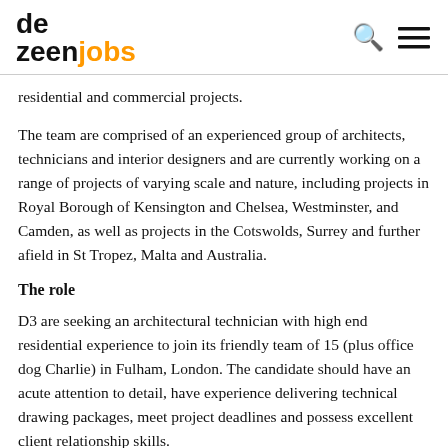dezeenjobs
residential and commercial projects.
The team are comprised of an experienced group of architects, technicians and interior designers and are currently working on a range of projects of varying scale and nature, including projects in Royal Borough of Kensington and Chelsea, Westminster, and Camden, as well as projects in the Cotswolds, Surrey and further afield in St Tropez, Malta and Australia.
The role
D3 are seeking an architectural technician with high end residential experience to join its friendly team of 15 (plus office dog Charlie) in Fulham, London. The candidate should have an acute attention to detail, have experience delivering technical drawing packages, meet project deadlines and possess excellent client relationship skills.
Main tasks to include the following: